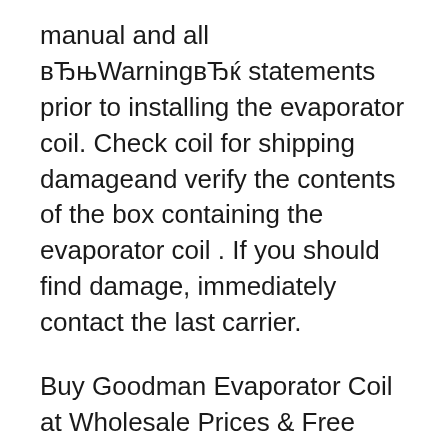manual and all “Warning” statements prior to installing the evaporator coil. Check coil for shipping damageand verify the contents of the box containing the evaporator coil . If you should find damage, immediately contact the last carrier.
Buy Goodman Evaporator Coil at Wholesale Prices & Free Same Day Shipping - Returning Goodman customers get 15% Extra off using our VIP Membership & bundling purchases. Goodman is a major brand in the Heating & Cooling department, and specializes in making a variety of other high quality Central Air Conditioning products. 26/09/2017В В· The Good...